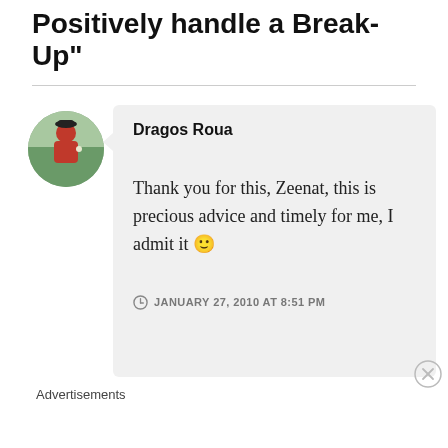Positively handle a Break-Up"
Dragos Roua

Thank you for this, Zeenat, this is precious advice and timely for me, I admit it 🙂

JANUARY 27, 2010 AT 8:51 PM
Advertisements